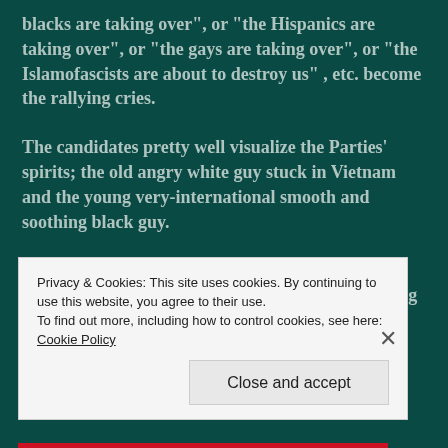blacks are taking over", or "the Hispanics are taking over", or "the gays are taking over", or "the Islamofascists are about to destroy us" , etc. become the rallying cries.
The candidates pretty well visualize the Parties' spirits;  the old angry white guy stuck in Vietnam and the young very-international smooth and soothing black guy.
We have the choice between a Party which will try to bring us hopefully into a future which is evolving or
Privacy & Cookies: This site uses cookies. By continuing to use this website, you agree to their use.
To find out more, including how to control cookies, see here: Cookie Policy
Close and accept